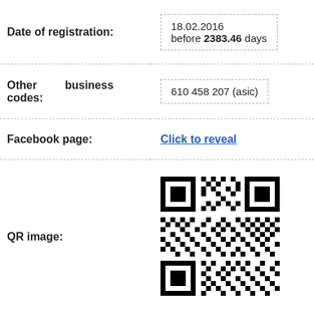| Field | Value |
| --- | --- |
| Date of registration: | 18.02.2016
before 2383.46 days |
| Other business codes: | 610 458 207 (asic) |
| Facebook page: | Click to reveal |
| QR image: | [QR code image] |